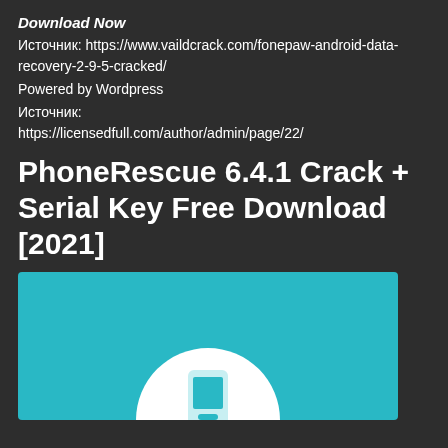Download Now
Источник: https://www.vaildcrack.com/fonepaw-android-data-recovery-2-9-5-cracked/
Powered by Wordpress
Источник: https://licensedfull.com/author/admin/page/22/
PhoneRescue 6.4.1 Crack + Serial Key Free Download [2021]
[Figure (illustration): PhoneRescue app logo — teal/turquoise background with a white circular icon featuring a phone symbol in the center]